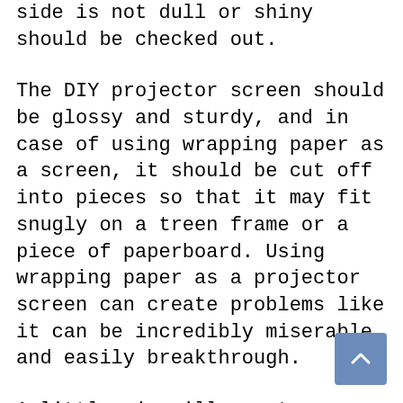side is not dull or shiny should be checked out.
The DIY projector screen should be glossy and sturdy, and in case of using wrapping paper as a screen, it should be cut off into pieces so that it may fit snugly on a treen frame or a piece of paperboard. Using wrapping paper as a projector screen can create problems like it can be incredibly miserable and easily breakthrough.
A little air will create a snatch or rip up on the paper screen and disfiguring the final image. Thus, any heresy to the paper or just a wrinkle can create an obstacle that will appear on the screen.